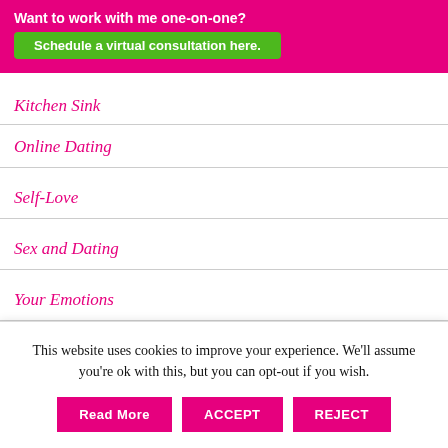Want to work with me one-on-one? Schedule a virtual consultation here.
Kitchen Sink
Online Dating
Self-Love
Sex and Dating
Your Emotions
Recent Posts
This website uses cookies to improve your experience. We'll assume you're ok with this, but you can opt-out if you wish.
Read More  ACCEPT  REJECT